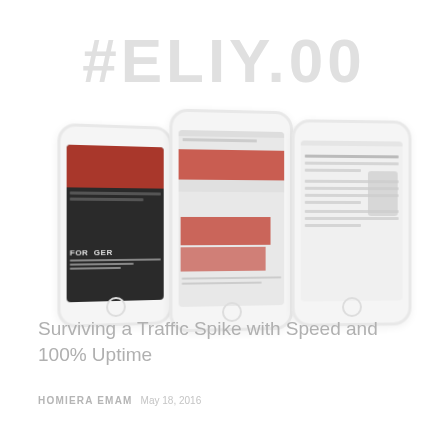#ELIY.00
[Figure (illustration): Three smartphone mockups shown in perspective view displaying a news/media app. Left phone shows a dark screen with red header and 'FORGER' text. Middle phone shows red content blocks. Right phone shows a light-colored article/text screen.]
Surviving a Traffic Spike with Speed and 100% Uptime
HOMIERA EMAM  May 18, 2016